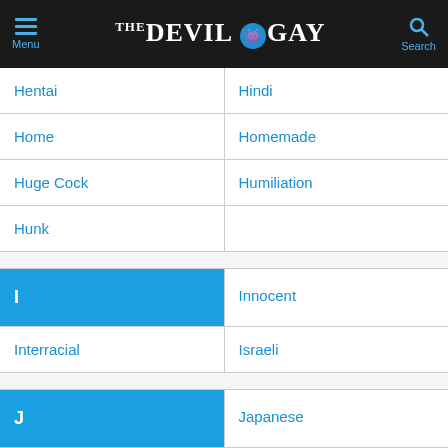Menu | THE DEVIL GAY | Search
Hentai
Hindi
Home
Homemade
Huge Cock
Humiliation
Hunk
I
Innocent
Interracial
Israeli
J
Japanese
Japanese Teen
Jav (japan Adult Video)